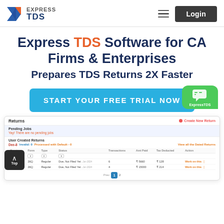[Figure (logo): Express TDS logo with diagonal blue/red shape and text 'EXPRESS TDS']
Login
Express TDS Software for CA Firms & Enterprises Prepares TDS Returns 2X Faster
START YOUR FREE TRIAL NOW
[Figure (screenshot): Express TDS software interface showing Returns dashboard with Pending Jobs section (Yay! There are no pending jobs) and User Created Returns table with columns Quarter, Form, Type, Status, Transactions, Amt Paid, Tax Deducted, Action. Two rows shown: Q2/26Q/Regular/Due, Not Filed Yet/6/₹5660/₹128 Work on this, and Q3/26Q/Regular/Due, Not Filed Yet/4/₹15000/₹214 Work on this. Pagination shows page 1 of 2.]